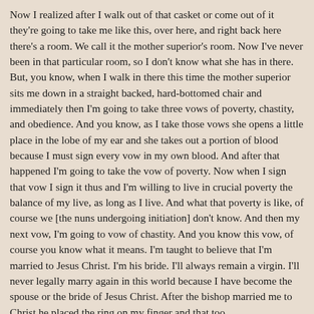Now I realized after I walk out of that casket or come out of it they're going to take me like this, over here, and right back here there's a room. We call it the mother superior's room. Now I've never been in that particular room, so I don't know what she has in there. But, you know, when I walk in there this time the mother superior sits me down in a straight backed, hard-bottomed chair and immediately then I'm going to take three vows of poverty, chastity, and obedience. And you know, as I take those vows she opens a little place in the lobe of my ear and she takes out a portion of blood because I must sign every vow in my own blood. And after that happened I'm going to take the vow of poverty. Now when I sign that vow I sign it thus and I'm willing to live in crucial poverty the balance of my live, as long as I live. And what that poverty is like, of course we [the nuns undergoing initiation] don't know. And then my next vow, I'm going to vow of chastity. And you know this vow, of course you know what it means. I'm taught to believe that I'm married to Jesus Christ. I'm his bride. I'll always remain a virgin. I'll never legally marry again in this world because I have become the spouse or the bride of Jesus Christ. After the bishop married me to Christ he placed the ring on my finger and that too...